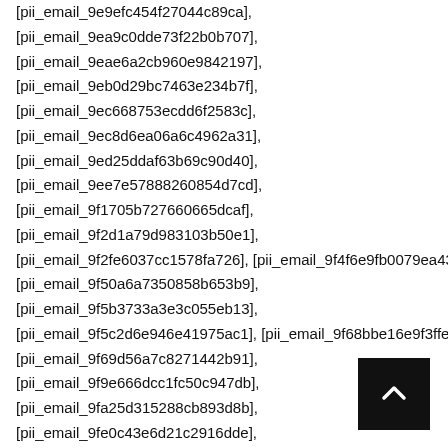[pii_email_9e9efc454f27044c89ca],
[pii_email_9ea9c0dde73f22b0b707],
[pii_email_9eae6a2cb960e9842197],
[pii_email_9eb0d29bc7463e234b7f],
[pii_email_9ec668753ecdd6f2583c],
[pii_email_9ec8d6ea06a6c4962a31],
[pii_email_9ed25ddaf63b69c90d40],
[pii_email_9ee7e57888260854d7cd],
[pii_email_9f1705b727660665dcaf],
[pii_email_9f2d1a79d983103b50e1],
[pii_email_9f2fe6037cc1578fa726], [pii_email_9f4f6e9fb0079ea4375...
[pii_email_9f50a6a7350858b653b9],
[pii_email_9f5b3733a3e3c055eb13],
[pii_email_9f5c2d6e946e41975ac1], [pii_email_9f68bbe16e9f3ffea7...
[pii_email_9f69d56a7c8271442b91],
[pii_email_9f9e666dcc1fc50c947db],
[pii_email_9fa25d315288cb893d8b],
[pii_email_9fe0c43e6d21c2916dde],